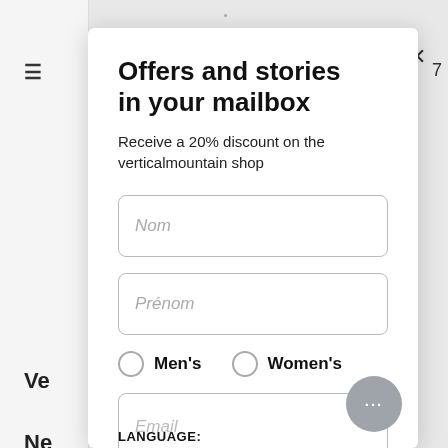Offers and stories in your mailbox
Receive a 20% discount on the verticalmountain shop
Nom
Prénom
Men's   Women's
Email
LANGUAGE: